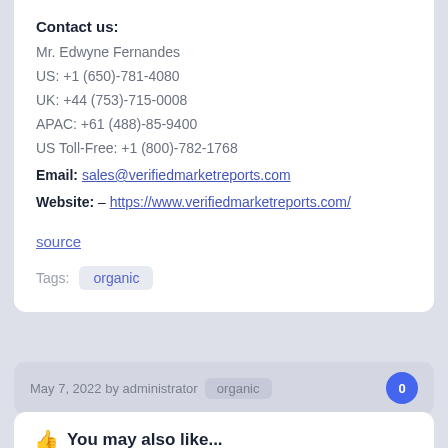Contact us:
Mr. Edwyne Fernandes
US: +1 (650)-781-4080
UK: +44 (753)-715-0008
APAC: +61 (488)-85-9400
US Toll-Free: +1 (800)-782-1768
Email: sales@verifiedmarketreports.com
Website: – https://www.verifiedmarketreports.com/
source
Tags: organic
May 7, 2022 by administrator  organic  0
You may also like...